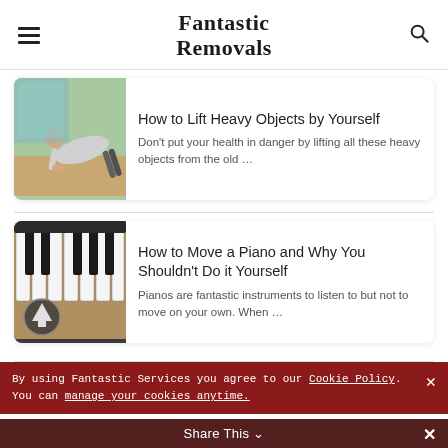Fantastic Removals
[Figure (photo): Person doing a side plank or lifting exercise on a wooden surface, fitness/gym setting]
How to Lift Heavy Objects by Yourself
Don't put your health in danger by lifting all these heavy objects from the old …
[Figure (photo): Close-up of piano keys (black and white keys), with an upward arrow icon overlay in the bottom left]
How to Move a Piano and Why You Shouldn't Do it Yourself
Pianos are fantastic instruments to listen to but not to move on your own. When …
By using Fantastic Services you agree to our Cookie Policy. You can manage your cookies anytime.
Share This